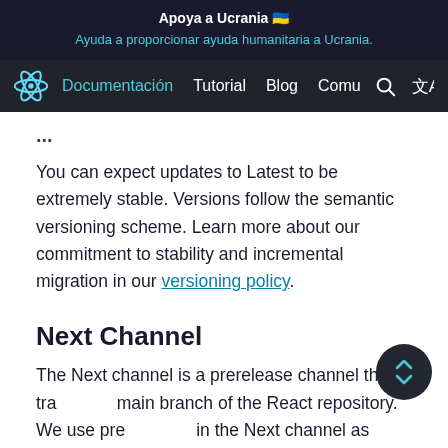Apoya a Ucrania 🇺🇦
Ayuda a proporcionar ayuda humanitaria a Ucrania.
Documentación  Tutorial  Blog  Comu
You can expect updates to Latest to be extremely stable. Versions follow the semantic versioning scheme. Learn more about our commitment to stability and incremental migration in our versioning policy.
Next Channel
The Next channel is a prerelease channel that tra... main branch of the React repository. We use pre... in the Next channel as release candidates for the Latest channel. You can think of Next as a superset of Latest